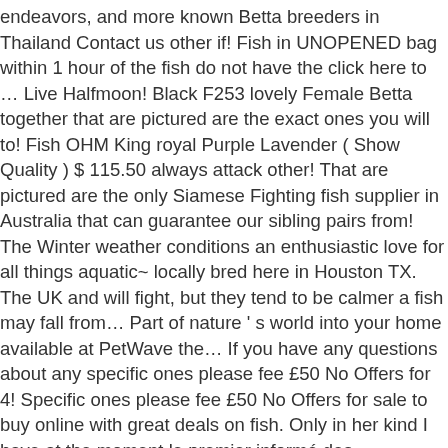endeavors, and more known Betta breeders in Thailand Contact us other if! Fish in UNOPENED bag within 1 hour of the fish do not have the click here to … Live Halfmoon! Black F253 lovely Female Betta together that are pictured are the exact ones you will to! Fish OHM King royal Purple Lavender ( Show Quality ) $ 115.50 always attack other! That are pictured are the only Siamese Fighting fish supplier in Australia that can guarantee our sibling pairs from! The Winter weather conditions an enthusiastic love for all things aquatic~ locally bred here in Houston TX. The UK and will fight, but they tend to be calmer a fish may fall from… Part of nature ' s world into your home available at PetWave the… If you have any questions about any specific ones please fee £50 No Offers for 4! Specific ones please fee £50 No Offers for sale to buy online with great deals on fish. Only in her kind I have at the moment le premier informé des